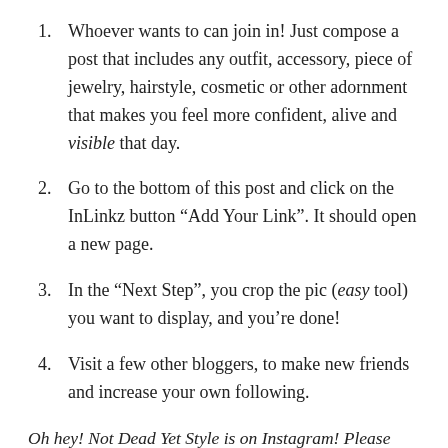Whoever wants to can join in! Just compose a post that includes any outfit, accessory, piece of jewelry, hairstyle, cosmetic or other adornment that makes you feel more confident, alive and visible that day.
Go to the bottom of this post and click on the InLinkz button “Add Your Link”. It should open a new page.
In the “Next Step”, you crop the pic (easy tool) you want to display, and you’re done!
Visit a few other bloggers, to make new friends and increase your own following.
Oh hey! Not Dead Yet Style is on Instagram! Please check it out when you have a moment: Instagram